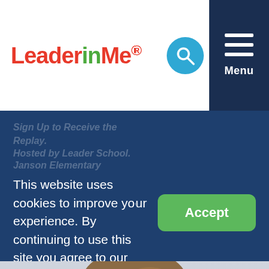[Figure (logo): LeaderInMe logo with red and green text]
[Figure (screenshot): Navigation bar with search icon and hamburger menu labeled Menu on dark navy background]
This website uses cookies to improve your experience. By continuing to use this site you agree to our use of cookies.
Learn More
[Figure (photo): Close-up photo of a man's face and upper head, light background]